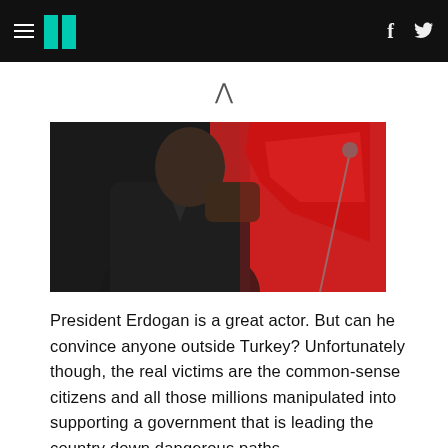HuffPost navigation
[Figure (photo): A man in a dark suit holding a red flag or cloth, with a microphone stand visible in the background against a red backdrop.]
President Erdogan is a great actor. But can he convince anyone outside Turkey? Unfortunately though, the real victims are the common-sense citizens and all those millions manipulated into supporting a government that is leading the country down dangerous paths.